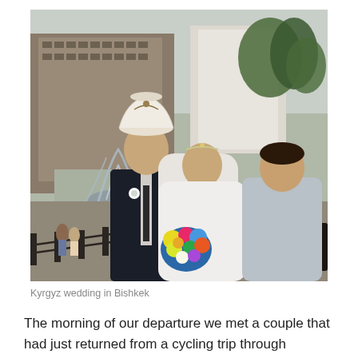[Figure (photo): A Kyrgyz wedding photo in Bishkek showing a groom wearing a traditional white felt hat (kalpak) in a dark suit with a boutonniere, a bride in a white wedding dress and veil holding a colorful bouquet of flowers, and another woman in a light blue dress. They are standing in a public square with a fountain and large building in the background, trees visible.]
Kyrgyz wedding in Bishkek
The morning of our departure we met a couple that had just returned from a cycling trip through Kyrgyzstan and scared me off with horror stories about heavy traffic and